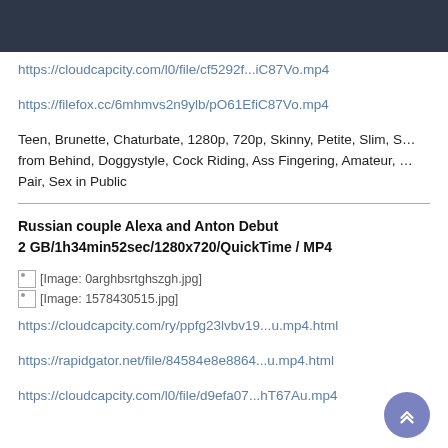https://cloudcapcity.com/l0/file/cf5292f...iC87Vo.mp4
https://filefox.cc/6mhmvs2n9ylb/pO61EfiC87Vo.mp4
Teen, Brunette, Chaturbate, 1280p, 720p, Skinny, Petite, Slim, S...from Behind, Doggystyle, Cock Riding, Ass Fingering, Amateur, ...Pair, Sex in Public
Russian couple Alexa and Anton Debut
2 GB/1h34min52sec/1280x720/QuickTime / MP4
[Figure (photo): Image placeholder: 0arghbsrtghszgh.jpg]
[Figure (photo): Image placeholder: 1578430515.jpg]
https://cloudcapcity.com/ry/ppfg23lvbv19...u.mp4.html
https://rapidgator.net/file/84584e8e8864...u.mp4.html
https://cloudcapcity.com/l0/file/d9efa07...hT67Au.mp4